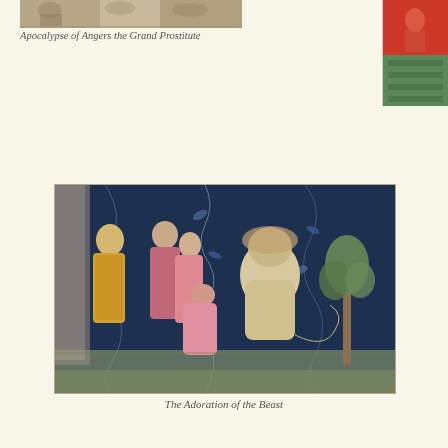[Figure (photo): Tapestry image of the Apocalypse of Angers depicting the Grand Prostitute, cropped at top of page, showing medieval figures]
Apocalypse of Angers the Grand Prostitute
[Figure (photo): Partial tapestry image at top right corner, showing red and green medieval tapestry detail]
[Figure (photo): The Adoration of the Beast — a medieval tapestry scene showing robed figures worshipping a beast-like creature amid dark floral background]
The Adoration of the Beast